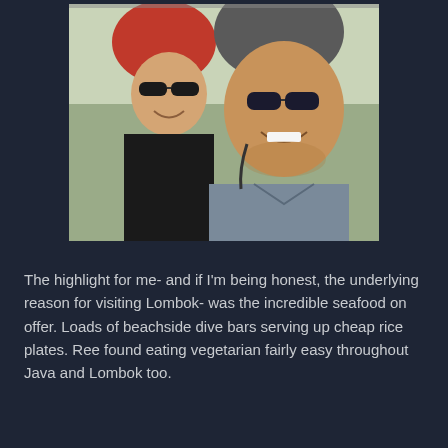[Figure (photo): Two people wearing helmets and sunglasses taking a selfie, smiling, outdoors]
The highlight for me- and if I'm being honest, the underlying reason for visiting Lombok- was the incredible seafood on offer. Loads of beachside dive bars serving up cheap rice plates. Ree found eating vegetarian fairly easy throughout Java and Lombok too.